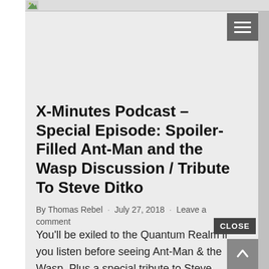[Figure (screenshot): Small image icon/thumbnail in top bar]
[Figure (other): Hamburger menu icon (three horizontal lines) on dark gray background]
X-Minutes Podcast – Special Episode: Spoiler-Filled Ant-Man and the Wasp Discussion / Tribute To Steve Ditko
By Thomas Rebel · July 27, 2018 · Leave a comment
You'll be exiled to the Quantum Realm if you listen before seeing Ant-Man & the Wasp. Plus a special tribute to Steve Ditko, co-creator of Dr. Strange and Spider-Man. Listen to the Spoiler Filled Ant-Man and the Wasp Discussion by following this link:X-Minutes
[Figure (other): CLOSE button overlay (dark gray with white text)]
[Figure (other): Scroll-to-top button with upward arrow on gray background]